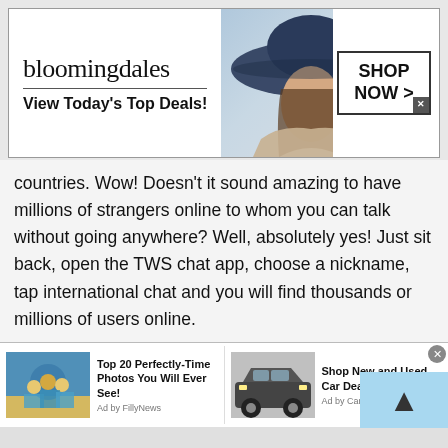[Figure (screenshot): Bloomingdale's advertisement banner with logo, tagline 'View Today's Top Deals!', model image with wide-brim hat, and 'SHOP NOW >' button]
countries. Wow! Doesn't it sound amazing to have millions of strangers online to whom you can talk without going anywhere? Well, absolutely yes! Just sit back, open the TWS chat app, choose a nickname, tap international chat and you will find thousands or millions of users online.
Joining TWS international chat rooms will do wonders for you. You can not only learn new things but also get rid of depression. Yes, once you start
[Figure (screenshot): Bottom advertisement bar with two ads: 'Top 20 Perfectly-Time Photos You Will Ever See! Ad by FillyNews' with beach photo thumbnail, and 'Shop New and Used Car Deals Near You Ad by Car Deals Near You' with SUV thumbnail. Close button at top right.]